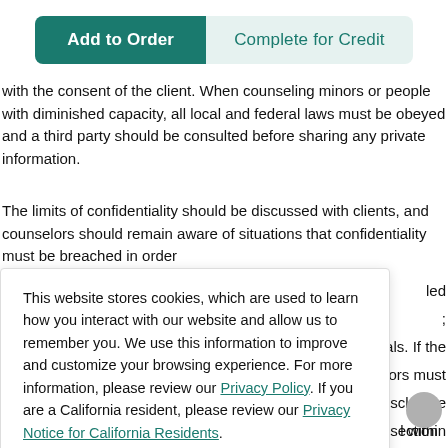Add to Order | Complete for Credit
with the consent of the client. When counseling minors or people with diminished capacity, all local and federal laws must be obeyed and a third party should be consulted before sharing any private information.
The limits of confidentiality should be discussed with clients, and counselors should remain aware of situations that confidentiality must be breached in order
This website stores cookies, which are used to learn how you interact with our website and allow us to remember you. We use this information to improve and customize your browsing experience. For more information, please review our Privacy Policy. If you are a California resident, please review our Privacy Notice for California Residents.
Accept
client. The fundamental ethical principles that apply to this section are fidelity